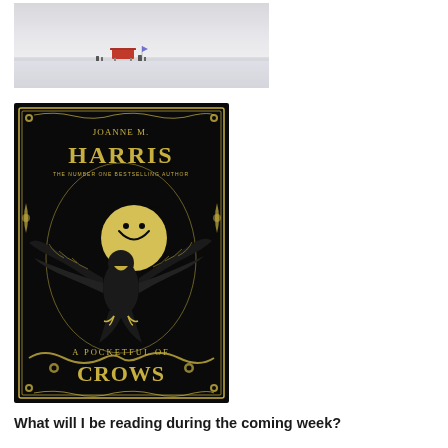[Figure (photo): A minimalist winter landscape photo showing a small red building or structure on a vast white snowy plain under a grey sky]
[Figure (illustration): Book cover of 'A Pocketful of Crows' by Joanne M. Harris - The Number One Bestselling Author. Black background with gold decorative elements featuring a large bird with spread wings, a smiling moon face, floral borders, and serpent motifs.]
What will I be reading during the coming week?